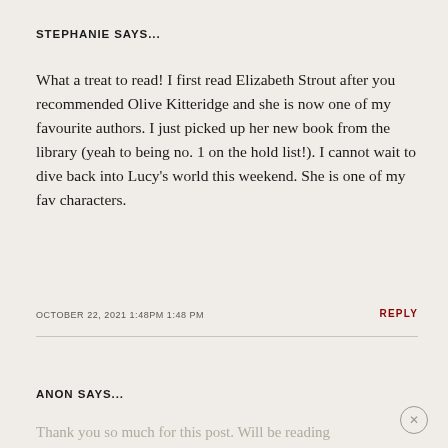STEPHANIE SAYS...
What a treat to read! I first read Elizabeth Strout after you recommended Olive Kitteridge and she is now one of my favourite authors. I just picked up her new book from the library (yeah to being no. 1 on the hold list!). I cannot wait to dive back into Lucy's world this weekend. She is one of my fav characters.
OCTOBER 22, 2021 1:48PM 1:48 PM
REPLY
ANON SAYS...
Thank you so much for this post. Will be reading